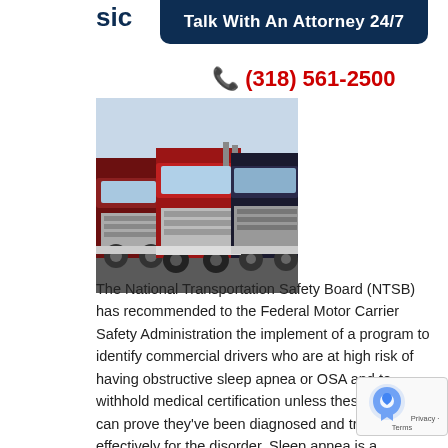Talk With An Attorney 24/7
(318) 561-2500
[Figure (photo): Row of large red semi-trucks / 18-wheelers parked in a lot]
The National Transportation Safety Board (NTSB) has recommended to the Federal Motor Carrier Safety Administration the implement of a program to identify commercial drivers who are at high risk of having obstructive sleep apnea or OSA and to withhold medical certification unless these workers can prove they've been diagnosed and treated effectively for the disorder. Sleep apnea is a contributor to drowsiness – a condition that could prove deadly for 18-wheeler drivers, resulting in car accidents. It is a